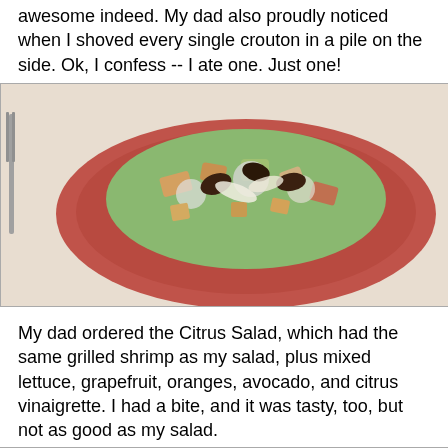awesome indeed. My dad also proudly noticed when I shoved every single crouton in a pile on the side. Ok, I confess -- I ate one. Just one!
[Figure (photo): A red plate filled with a chopped salad containing grilled shrimp, croutons, lettuce, and other toppings, viewed from above at a restaurant table.]
My dad ordered the Citrus Salad, which had the same grilled shrimp as my salad, plus mixed lettuce, grapefruit, oranges, avocado, and citrus vinaigrette. I had a bite, and it was tasty, too, but not as good as my salad.
[Figure (photo): A red plate with a citrus salad containing grilled shrimp, mixed lettuce, grapefruit slices, and other toppings, with a person's hand visible reaching toward the plate at a restaurant table.]